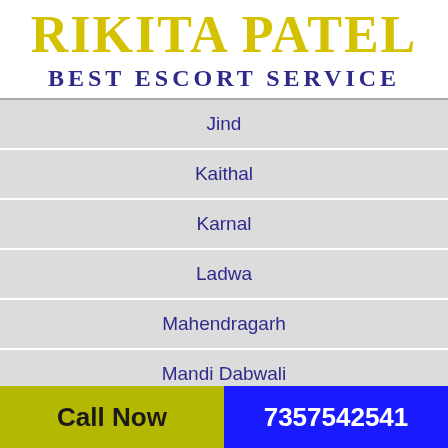RIKITA PATEL BEST ESCORT SERVICE
Jind
Kaithal
Karnal
Ladwa
Mahendragarh
Mandi Dabwali
Narwana (partial)
Call Now  7357542541